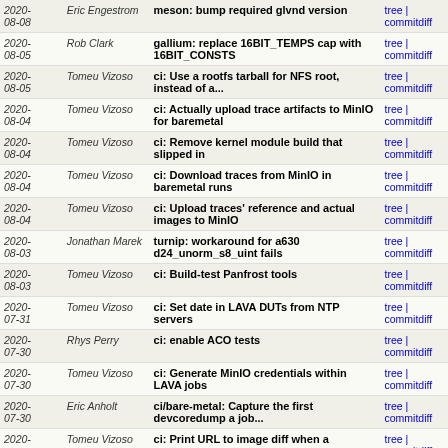| Date | Author | Message | Links |
| --- | --- | --- | --- |
| 2020-08-08 | Eric Engestrom | meson: bump required glvnd version | tree | commitdiff |
| 2020-08-05 | Rob Clark | gallium: replace 16BIT_TEMPS cap with 16BIT_CONSTS | tree | commitdiff |
| 2020-08-05 | Tomeu Vizoso | ci: Use a rootfs tarball for NFS root, instead of a... | tree | commitdiff |
| 2020-08-04 | Tomeu Vizoso | ci: Actually upload trace artifacts to MinIO for baremetal | tree | commitdiff |
| 2020-08-04 | Tomeu Vizoso | ci: Remove kernel module build that slipped in | tree | commitdiff |
| 2020-08-04 | Tomeu Vizoso | ci: Download traces from MinIO in baremetal runs | tree | commitdiff |
| 2020-08-04 | Tomeu Vizoso | ci: Upload traces' reference and actual images to MinIO | tree | commitdiff |
| 2020-08-03 | Jonathan Marek | turnip: workaround for a630 d24_unorm_s8_uint fails | tree | commitdiff |
| 2020-08-03 | Tomeu Vizoso | ci: Build-test Panfrost tools | tree | commitdiff |
| 2020-07-31 | Tomeu Vizoso | ci: Set date in LAVA DUTs from NTP servers | tree | commitdiff |
| 2020-07-30 | Rhys Perry | ci: enable ACO tests | tree | commitdiff |
| 2020-07-30 | Tomeu Vizoso | ci: Generate MinIO credentials within LAVA jobs | tree | commitdiff |
| 2020-07-30 | Eric Anholt | ci/bare-metal: Capture the first devcoredump a job... | tree | commitdiff |
| 2020-07- | Tomeu Vizoso | ci: Print URL to image diff when a | tree | commitdiff |